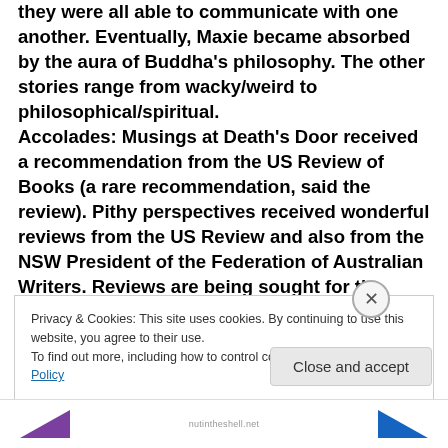they were all able to communicate with one another. Eventually, Maxie became absorbed by the aura of Buddha's philosophy. The other stories range from wacky/weird to philosophical/spiritual. Accolades: Musings at Death's Door received a recommendation from the US Review of Books (a rare recommendation, said the review). Pithy perspectives received wonderful reviews from the US Review and also from the NSW President of the Federation of Australian Writers. Reviews are being sought for the other 2 books. Shows that I am not just a pretty face!
Privacy & Cookies: This site uses cookies. By continuing to use this website, you agree to their use. To find out more, including how to control cookies, see here: Cookie Policy